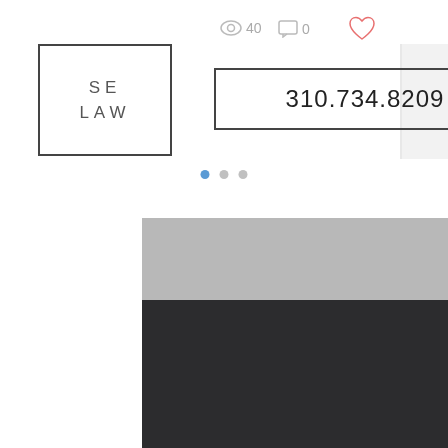[Figure (screenshot): Website screenshot of SE LAW legal firm page showing logo, phone number 310.734.8209, navigation hamburger icon, stats (40 views, 0 comments, heart/like), pagination dots, and a dark hero image section with back-to-top and more options buttons]
SE LAW
310.734.8209
40
0